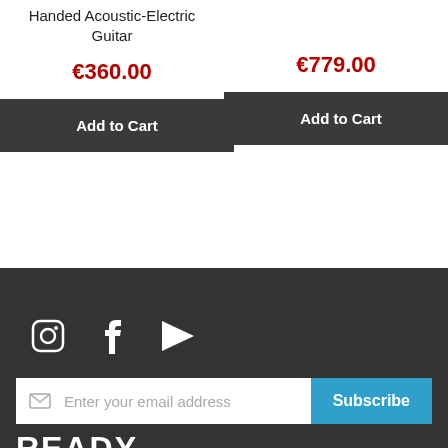Handed Acoustic-Electric Guitar
€360.00
Add to Cart
€779.00
Add to Cart
[Figure (infographic): Social media icons: Instagram, Facebook, YouTube]
Enter your email address
Subscribe
READY